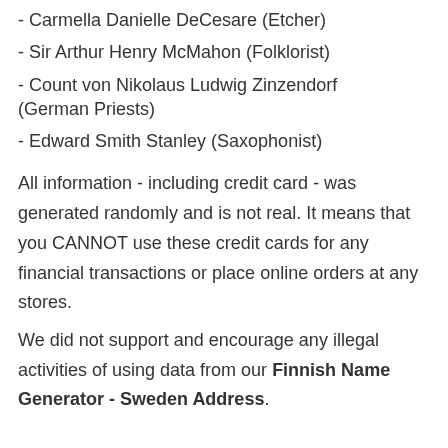- Carmella Danielle DeCesare (Etcher)
- Sir Arthur Henry McMahon (Folklorist)
- Count von Nikolaus Ludwig Zinzendorf (German Priests)
- Edward Smith Stanley (Saxophonist)
All information - including credit card - was generated randomly and is not real. It means that you CANNOT use these credit cards for any financial transactions or place online orders at any stores.
We did not support and encourage any illegal activities of using data from our Finnish Name Generator - Sweden Address.